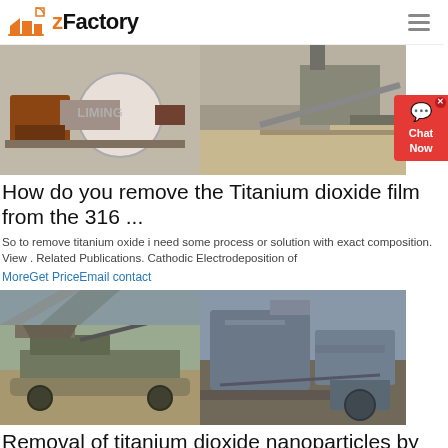zFactory
[Figure (photo): Industrial machinery photos: ball mill and mining/crushing equipment]
How do you remove the Titanium dioxide film from the 316 ...
So to remove titanium oxide i need some process or solution with exact composition. View . Related Publications. Cathodic Electrodeposition of
MoreGet PriceEmail contact
[Figure (photo): Two photos of mining/crushing machinery and equipment on site]
Removal of titanium dioxide nanoparticles by coagulation ...